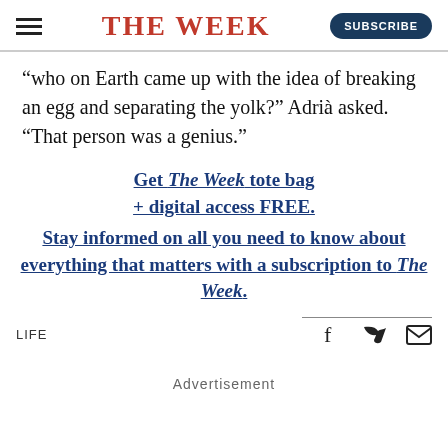THE WEEK
“who on Earth came up with the idea of breaking an egg and separating the yolk?” Adrià asked. “That person was a genius.”
Get The Week tote bag + digital access FREE. Stay informed on all you need to know about everything that matters with a subscription to The Week.
LIFE
Advertisement